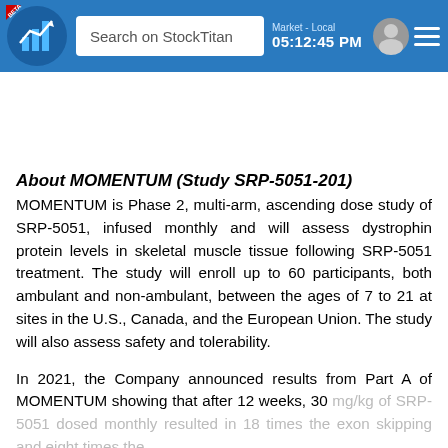Search on StockTitan | Market - Local 05:12:45 PM
About MOMENTUM (Study SRP-5051-201)
MOMENTUM is Phase 2, multi-arm, ascending dose study of SRP-5051, infused monthly and will assess dystrophin protein levels in skeletal muscle tissue following SRP-5051 treatment. The study will enroll up to 60 participants, both ambulant and non-ambulant, between the ages of 7 to 21 at sites in the U.S., Canada, and the European Union. The study will also assess safety and tolerability.

In 2021, the Company announced results from Part A of MOMENTUM showing that after 12 weeks, 30 mg/kg of SRP-5051 dosed monthly resulted in 18 times the exon skipping and eight times the